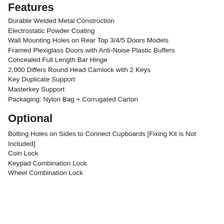Features
Durable Welded Metal Construction
Electrostatic Powder Coating
Wall Mounting Holes on Rear Top 3/4/5 Doors Models
Framed Plexiglass Doors with Anti-Noise Plastic Buffers
Concealed Full Length Bar Hinge
2,000 Differs Round Head Camlock with 2 Keys
Key Duplicate Support
Masterkey Support
Packaging: Nylon Bag + Corrugated Carton
Optional
Bolting Holes on Sides to Connect Cupboards [Fixing Kit is Not Included]
Coin Lock
Keypad Combination Lock
Wheel Combination Lock